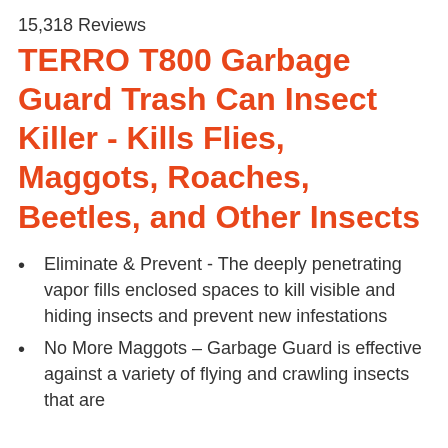15,318 Reviews
TERRO T800 Garbage Guard Trash Can Insect Killer - Kills Flies, Maggots, Roaches, Beetles, and Other Insects
Eliminate & Prevent - The deeply penetrating vapor fills enclosed spaces to kill visible and hiding insects and prevent new infestations
No More Maggots – Garbage Guard is effective against a variety of flying and crawling insects that are